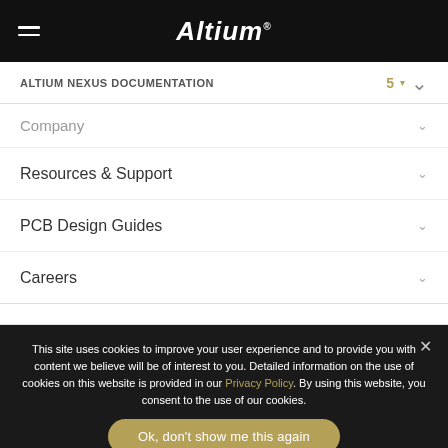Altium
ALTIUM NEXUS DOCUMENTATION  5 ˅
Company ˅
Resources & Support ˅
PCB Design Guides ˅
Careers ˅
This site uses cookies to improve your user experience and to provide you with content we believe will be of interest to you. Detailed information on the use of cookies on this website is provided in our Privacy Policy. By using this website, you consent to the use of our cookies.
Ok, don't show me this again